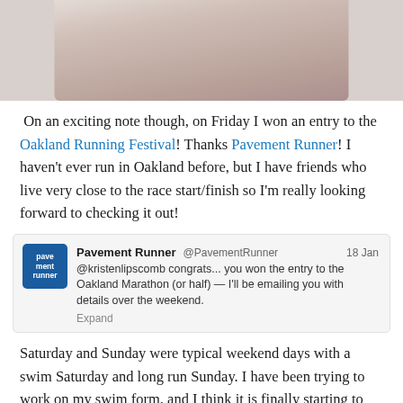[Figure (photo): Cropped close-up photo of a person's face, partially visible, top portion of the page]
On an exciting note though, on Friday I won an entry to the Oakland Running Festival! Thanks Pavement Runner! I haven't ever run in Oakland before, but I have friends who live very close to the race start/finish so I'm really looking forward to checking it out!
[Figure (screenshot): Tweet from @PavementRunner dated 18 Jan: '@kristenlipscomb congrats... you won the entry to the Oakland Marathon (or half) — I'll be emailing you with details over the weekend. Expand']
Saturday and Sunday were typical weekend days with a swim Saturday and long run Sunday. I have been trying to work on my swim form, and I think it is finally starting to improve! I'm planning to buy the Total Immersion book or DVD for some more tips since I have heard it's pretty